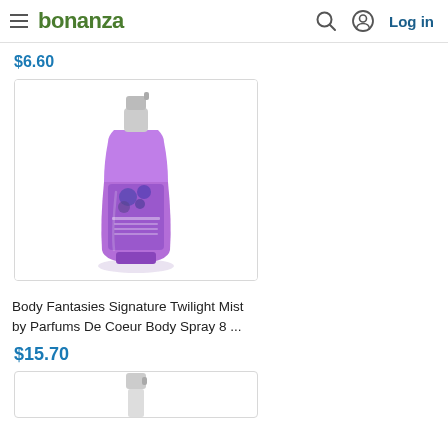bonanza — Log in
$6.60
[Figure (photo): Purple body spray bottle — Body Fantasies Signature Twilight Mist by Parfums De Coeur Body Spray 8 oz — with silver pump top and floral/berry label design]
Body Fantasies Signature Twilight Mist by Parfums De Coeur Body Spray 8 ...
$15.70
[Figure (photo): Partial view of another body spray bottle, white/silver pump top visible at bottom of page]